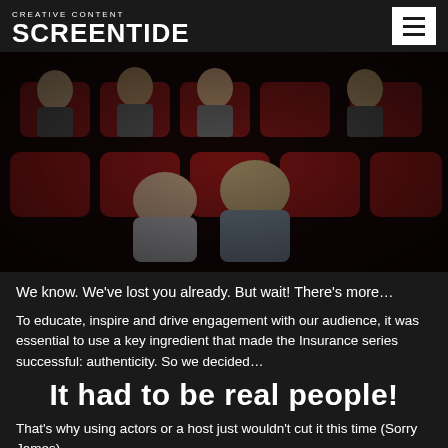CREATIVE CONTENT SCREENTIDE
[Figure (photo): People sleeping and looking bored in red cinema seats, a movie theater audience]
We know. We’ve lost you already. But wait! There’s more…
To educate, inspire and drive engagement with our audience, it was essential to use a key ingredient that made the Insurance series successful: authenticity. So we decided…
It had to be real people!
That’s why using actors or a host just wouldn’t cut it this time (Sorry James).